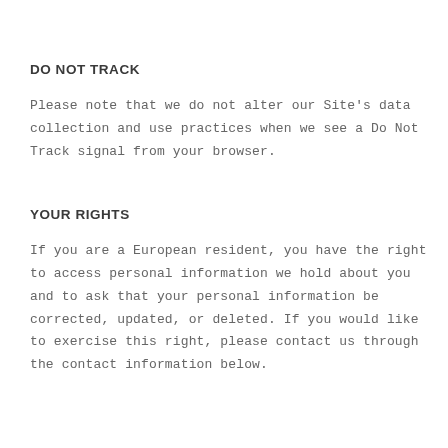DO NOT TRACK
Please note that we do not alter our Site’s data collection and use practices when we see a Do Not Track signal from your browser.
YOUR RIGHTS
If you are a European resident, you have the right to access personal information we hold about you and to ask that your personal information be corrected, updated, or deleted. If you would like to exercise this right, please contact us through the contact information below.